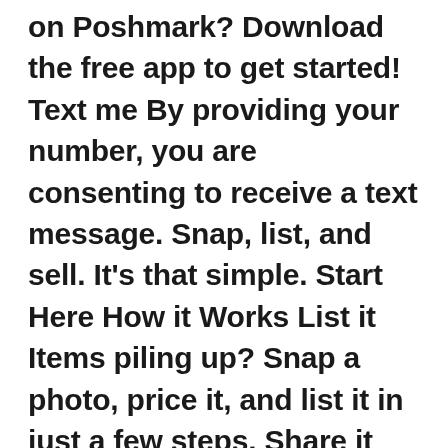on Poshmark? Download the free app to get started! Text me By providing your number, you are consenting to receive a text message. Snap, list, and sell. It's that simple. Start Here How it Works List it Items piling up? Snap a photo, price it, and list it in just a few steps. Share it Share listings with your followers. Aug 13,  · Poshmark is an e-commerce marketplace where people can buy or sell men's, women's and children's used or new clothing, shoes,